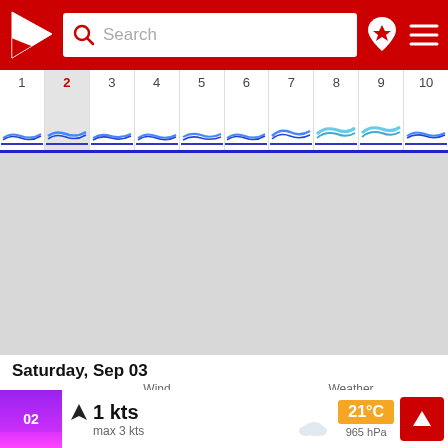[Figure (screenshot): Red navigation app header with logo, search bar, bookmark icon and menu icon]
[Figure (other): Calendar date strip showing days 1-10 with day 2 highlighted in red, wave height indicators along the bottom of each day column]
[Figure (map): Grey map area showing marine/weather chart]
Saturday, Sep 03
Wind
Weather
02
1 kts
max 3 kts
21°C
965 hPa